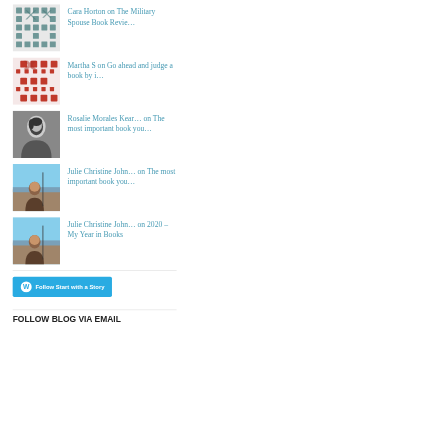Cara Horton on The Military Spouse Book Revie…
Martha S on Go ahead and judge a book by i…
Rosalie Morales Kear… on The most important book you…
Julie Christine John… on The most important book you…
Julie Christine John… on 2020 – My Year in Books
[Figure (other): Follow Start with a Story WordPress follow button]
FOLLOW BLOG VIA EMAIL